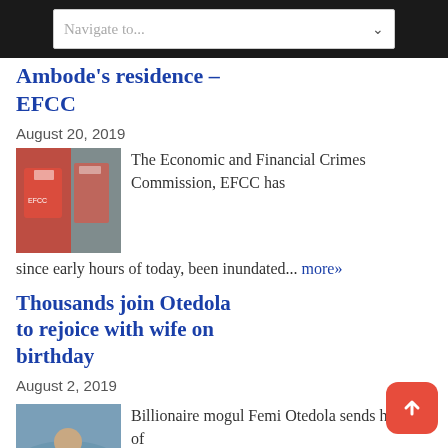Navigate to...
Ambode's residence – EFCC
August 20, 2019
[Figure (photo): EFCC officers in red jackets]
The Economic and Financial Crimes Commission, EFCC has since early hours of today, been inundated... more»
Thousands join Otedola to rejoice with wife on birthday
August 2, 2019
[Figure (photo): Femi Otedola on a boat]
Billionaire mogul Femi Otedola sends his wife of